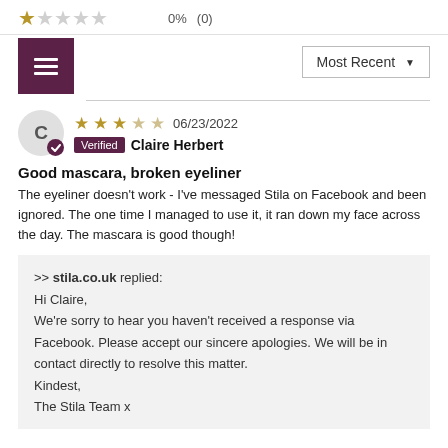[Figure (infographic): Star rating row: 1 filled star, 4 empty stars, 0%, (0)]
[Figure (infographic): Purple menu icon button on the left and Most Recent dropdown on the right]
[Figure (infographic): Reviewer avatar circle with letter C and verified checkmark badge]
06/23/2022
Verified  Claire Herbert
Good mascara, broken eyeliner
The eyeliner doesn't work - I've messaged Stila on Facebook and been ignored. The one time I managed to use it, it ran down my face across the day. The mascara is good though!
>> stila.co.uk replied:
Hi Claire,
We're sorry to hear you haven't received a response via Facebook. Please accept our sincere apologies. We will be in contact directly to resolve this matter.
Kindest,
The Stila Team x